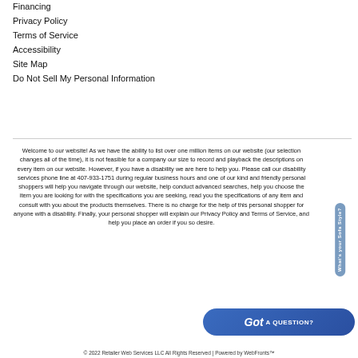Financing
Privacy Policy
Terms of Service
Accessibility
Site Map
Do Not Sell My Personal Information
Welcome to our website! As we have the ability to list over one million items on our website (our selection changes all of the time), it is not feasible for a company our size to record and playback the descriptions on every item on our website. However, if you have a disability we are here to help you. Please call our disability services phone line at 407-933-1751 during regular business hours and one of our kind and friendly personal shoppers will help you navigate through our website, help conduct advanced searches, help you choose the item you are looking for with the specifications you are seeking, read you the specifications of any item and consult with you about the products themselves. There is no charge for the help of this personal shopper for anyone with a disability. Finally, your personal shopper will explain our Privacy Policy and Terms of Service, and help you place an order if you so desire.
[Figure (other): Got A Question? button widget in blue rounded rectangle]
© 2022 Retailer Web Services LLC All Rights Reserved | Powered by WebFronts™